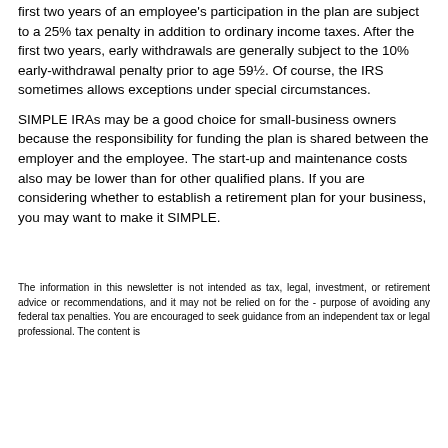first two years of an employee's participation in the plan are subject to a 25% tax penalty in addition to ordinary income taxes. After the first two years, early withdrawals are generally subject to the 10% early-withdrawal penalty prior to age 59½. Of course, the IRS sometimes allows exceptions under special circumstances.
SIMPLE IRAs may be a good choice for small-business owners because the responsibility for funding the plan is shared between the employer and the employee. The start-up and maintenance costs also may be lower than for other qualified plans. If you are considering whether to establish a retirement plan for your business, you may want to make it SIMPLE.
The information in this newsletter is not intended as tax, legal, investment, or retirement advice or recommendations, and it may not be relied on for the purpose of avoiding any federal tax penalties. You are encouraged to seek guidance from an independent tax or legal professional. The content is